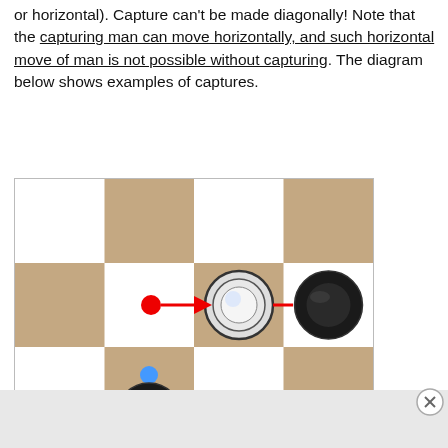or horizontal). Capture can't be made diagonally! Note that the capturing man can move horizontally, and such horizontal move of man is not possible without capturing. The diagram below shows examples of captures.
[Figure (illustration): A checkers/draughts board diagram showing capture examples. A red dot connected by a red arrow points to a white piece (king/man), which connects via red arrow to a dark piece on the right — showing horizontal capture. Below, a blue dot on a stem above a black piece shows a vertical capture direction.]
Advertisements